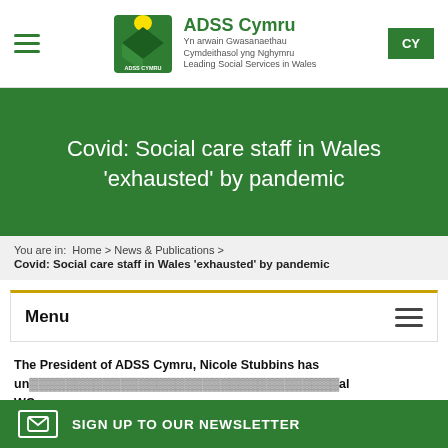ADSS Cymru — Yn arwain Gwasanaethau Cymdeithasol yng Nghymru — Leading Social Services in Wales — CY
Covid: Social care staff in Wales 'exhausted' by pandemic
You are in: Home > News & Publications > Covid: Social care staff in Wales 'exhausted' by pandemic
Menu
The President of ADSS Cymru, Nicole Stubbins has un... al WO...
SIGN UP TO OUR NEWSLETTER